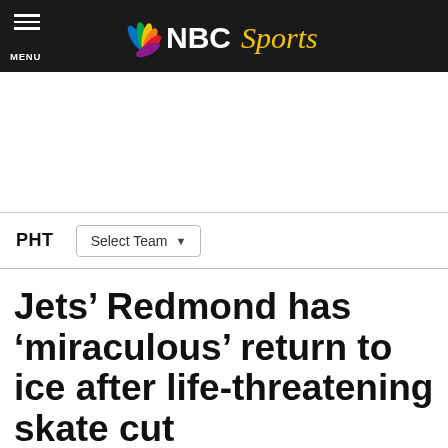NBC Sports
[Figure (logo): NBC Sports logo with peacock icon and 'NBC Sports' text in white and gold on black background]
PHT   Select Team
Jets’ Redmond has ‘miraculous’ return to ice after life-threatening skate cut
By Mike Halford   Apr 5, 2013, 12:15 PM EDT